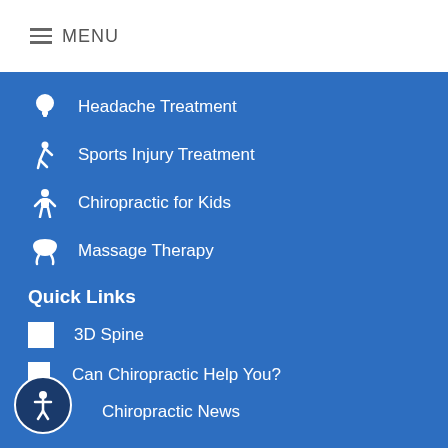MENU
Headache Treatment
Sports Injury Treatment
Chiropractic for Kids
Massage Therapy
Quick Links
3D Spine
Can Chiropractic Help You?
Chiropractic News